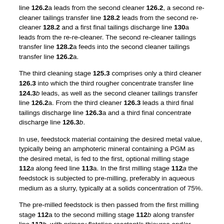line 126.2a leads from the second cleaner 126.2, a second re-cleaner tailings transfer line 128.2 leads from the second re-cleaner 128.2 and a first final tailings discharge line 130a leads from the re-re-cleaner. The second re-cleaner tailings transfer line 128.2a feeds into the second cleaner tailings transfer line 126.2a.
The third cleaning stage 125.3 comprises only a third cleaner 126.3 into which the third rougher concentrate transfer line 124.3b leads, as well as the second cleaner tailings transfer line 126.2a. From the third cleaner 126.3 leads a third final tailings discharge line 126.3a and a third final concentrate discharge line 126.3b.
In use, feedstock material containing the desired metal value, typically being an amphoteric mineral containing a PGM as the desired metal, is fed to the first, optional milling stage 112a along feed line 113a. In the first milling stage 112a the feedstock is subjected to pre-milling, preferably in aqueous medium as a slurry, typically at a solids concentration of 75%.
The pre-milled feedstock is then passed from the first milling stage 112a to the second milling stage 112b along transfer line 113b, with primary flotation reactant/s thiourea and/or oxalic acid being introduced into the pre-milled feedstock along first primary reactant feed line 114a before the pre-milled feedstock is fed to the second milling stage 112b.
In the second milling stage 112b, the pre-milled feedstock is subjected to